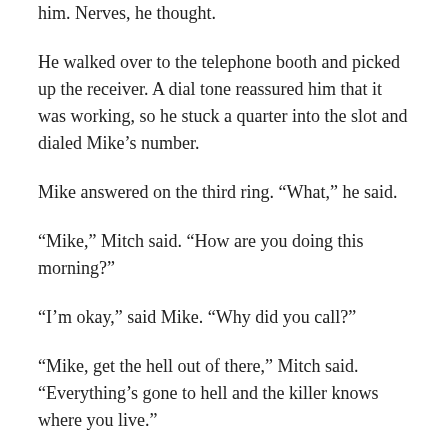him. Nerves, he thought.
He walked over to the telephone booth and picked up the receiver. A dial tone reassured him that it was working, so he stuck a quarter into the slot and dialed Mike’s number.
Mike answered on the third ring. “What,” he said.
“Mike,” Mitch said. “How are you doing this morning?”
“I’m okay,” said Mike. “Why did you call?”
“Mike, get the hell out of there,” Mitch said. “Everything’s gone to hell and the killer knows where you live.”
“Uh huh,” said Mike. “Think about this, Mitch. Where the hell am I going to go?”
“I don’t know,” said Mitch. “I just know you’re not safe there.”